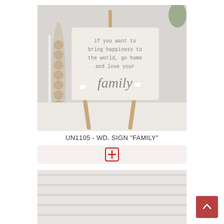[Figure (photo): A wooden sign on a small wooden easel with the text 'if you want to bring happiness to the world, go home and love your family' inscribed on it. The sign is white/cream colored with gray text. Background shows a light, airy room setting.]
UN1105 - WD. SIGN "FAMILY"
[Figure (other): Add to cart button bar with a red plus icon on a light beige background]
[Figure (photo): Partial view of a second product - appears to be a light colored item, partially visible at the bottom of the page]
[Figure (other): Back to top button - red/salmon square button with white upward chevron arrow in bottom right corner]